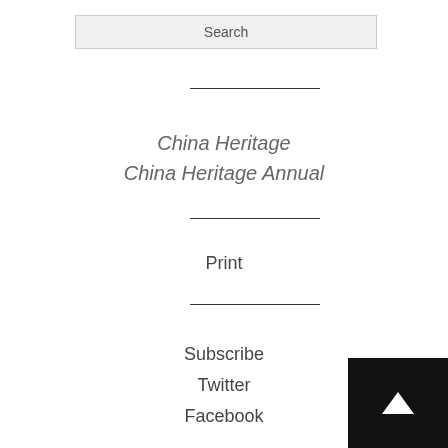Search
China Heritage
China Heritage Annual
Print
Subscribe
Twitter
Facebook